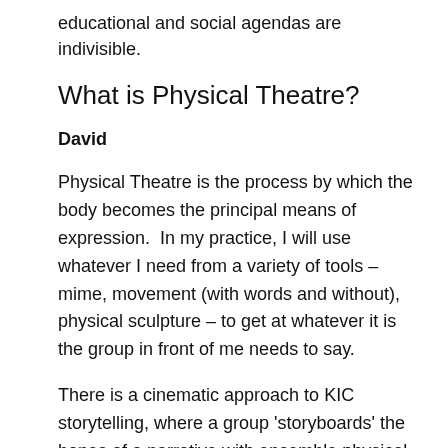educational and social agendas are indivisible.
What is Physical Theatre?
David
Physical Theatre is the process by which the body becomes the principal means of expression.  In my practice, I will use whatever I need from a variety of tools – mime, movement (with words and without), physical sculpture – to get at whatever it is the group in front of me needs to say.
There is a cinematic approach to KIC storytelling, where a group ‘storyboards’ the bones of a narrative with ensemble physical imagery, then follows a layering of words, music and visuals, until there is an